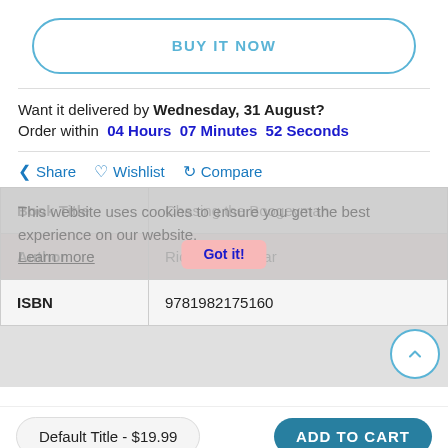BUY IT NOW
Want it delivered by Wednesday, 31 August? Order within  04 Hours  07 Minutes  52 Seconds
Share  Wishlist  Compare
This website uses cookies to ensure you get the best experience on our website. Learn more  Got it!
| Book Title | Chasing the Boogeyman |
| Author | Richard Chizmar |
| ISBN | 9781982175160 |
Default Title - $19.99
ADD TO CART